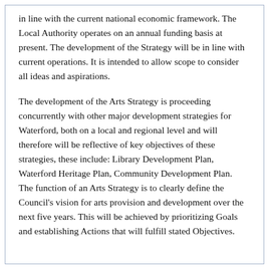in line with the current national economic framework. The Local Authority operates on an annual funding basis at present. The development of the Strategy will be in line with current operations. It is intended to allow scope to consider all ideas and aspirations.
The development of the Arts Strategy is proceeding concurrently with other major development strategies for Waterford, both on a local and regional level and will therefore will be reflective of key objectives of these strategies, these include: Library Development Plan, Waterford Heritage Plan, Community Development Plan. The function of an Arts Strategy is to clearly define the Council's vision for arts provision and development over the next five years. This will be achieved by prioritizing Goals and establishing Actions that will fulfill stated Objectives.